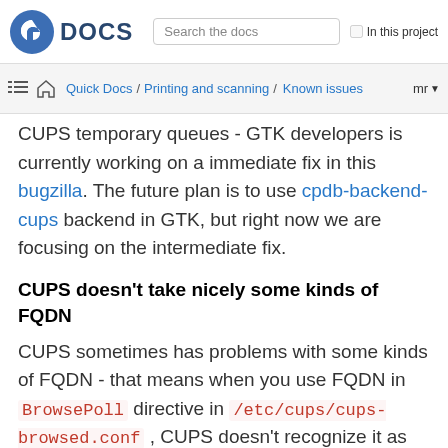DOCS  Search the docs  In this project
Quick Docs / Printing and scanning / Known issues  mr
CUPS temporary queues - GTK developers is currently working on a immediate fix in this bugzilla. The future plan is to use cpdb-backend-cups backend in GTK, but right now we are focusing on the intermediate fix.
CUPS doesn't take nicely some kinds of FQDN
CUPS sometimes has problems with some kinds of FQDN - that means when you use FQDN in BrowsePoll directive in /etc/cups/cups-browsed.conf , CUPS doesn't recognize it as valid hostname - it is solved by adding: